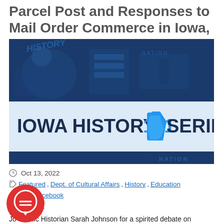Parcel Post and Responses to Mail Order Commerce in Iowa, 1897-1915
[Figure (illustration): Iowa History 101 Series banner image showing a stylized blue map of Iowa with historical imagery and the text 'IOWA HISTORY 101 SERIES' prominently displayed in the center. The top and bottom sections feature dark blue illustrated scenes. A blue Iowa state silhouette appears in the '101' portion of the text.]
Oct 13, 2022
Featured, Dept. of Cultural Affairs, History, Education
Share on Facebook
Share on Twitter
Join Public Historian Sarah Johnson for a spirited debate on